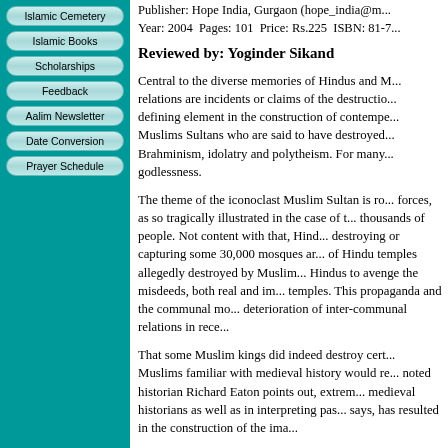Publisher: Hope India, Gurgaon (hope_india@m... Year: 2004 Pages: 101 Price: Rs.225 ISBN: 81-7...
Reviewed by: Yoginder Sikand
Central to the diverse memories of Hindus and M... relations are incidents or claims of the destructio... defining element in the construction of contempe... Muslims Sultans who are said to have destroyed... Brahminism, idolatry and polytheism. For many... godlessness.
The theme of the iconoclast Muslim Sultan is ro... forces, as so tragically illustrated in the case of t... thousands of people. Not content with that, Hind... destroying or capturing some 30,000 mosques ar... of Hindu temples allegedly destroyed by Muslim... Hindus to avenge the misdeeds, both real and im... temples. This propaganda and the communal mo... deterioration of inter-communal relations in rece...
That some Muslim kings did indeed destroy cert... Muslims familiar with medieval history would re... noted historian Richard Eaton points out, extrem... medieval historians as well as in interpreting pas... says, has resulted in the construction of the ima...
Islamic Cemetery
Islamic Books
Scholarships
Feedback
Aalim Newsletter
Date Conversion
Prayer Schedule